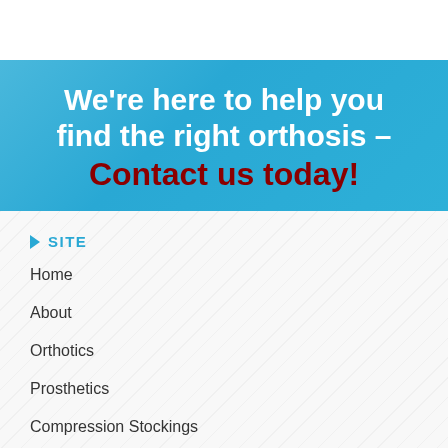We're here to help you find the right orthosis – Contact us today!
SITE
Home
About
Orthotics
Prosthetics
Compression Stockings
Contact